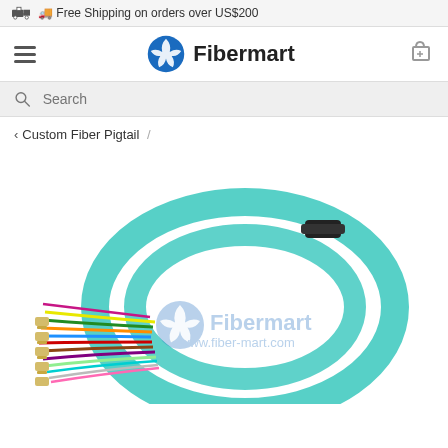Free Shipping on orders over US$200
[Figure (logo): Fibermart logo with blue pinwheel icon and brand name]
Search
< Custom Fiber Pigtail /
[Figure (photo): Aqua/teal fiber optic pigtail cable coiled in a circle with colorful fiber strands and LC connectors at one end, Fibermart watermark and www.fiber-mart.com URL visible]